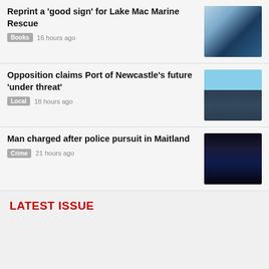Reprint a 'good sign' for Lake Mac Marine Rescue
Books  16 hours ago
[Figure (photo): A man in a blue uniform with headset sitting at a desk with computer monitors]
Opposition claims Port of Newcastle's future 'under threat'
Local  18 hours ago
[Figure (photo): Two men in suits standing outdoors near water]
Man charged after police pursuit in Maitland
Crime  21 hours ago
[Figure (photo): Police car with blue and red flashing lights at night with officer in foreground]
LATEST ISSUE